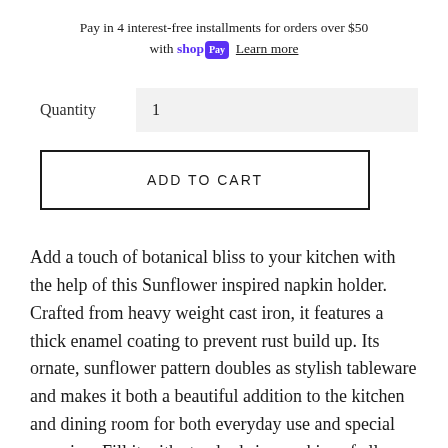Pay in 4 interest-free installments for orders over $50 with shop Pay Learn more
Quantity  1
ADD TO CART
Add a touch of botanical bliss to your kitchen with the help of this Sunflower inspired napkin holder. Crafted from heavy weight cast iron, it features a thick enamel coating to prevent rust build up. Its ornate, sunflower pattern doubles as stylish tableware and makes it both a beautiful addition to the kitchen and dining room for both everyday use and special occasion. Fill it with standard size napkins of all types, from paper and